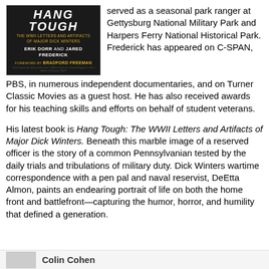[Figure (photo): Book cover of 'Hang Tough: The WWII Letters and Artifacts of Major Dick Winters' by Erik Dorr and Jared Frederick, foreword by Bradford Freeman. Dark background with bold white title text and gold subtitle text.]
served as a seasonal park ranger at Gettysburg National Military Park and Harpers Ferry National Historical Park. Frederick has appeared on C-SPAN, PBS, in numerous independent documentaries, and on Turner Classic Movies as a guest host. He has also received awards for his teaching skills and efforts on behalf of student veterans.
His latest book is Hang Tough: The WWII Letters and Artifacts of Major Dick Winters. Beneath this marble image of a reserved officer is the story of a common Pennsylvanian tested by the daily trials and tribulations of military duty. Dick Winters wartime correspondence with a pen pal and naval reservist, DeEtta Almon, paints an endearing portrait of life on both the home front and battlefront—capturing the humor, horror, and humility that defined a generation.
[Figure (photo): Partial thumbnail image visible at the bottom left of the page, partially cut off.]
Colin Cohen